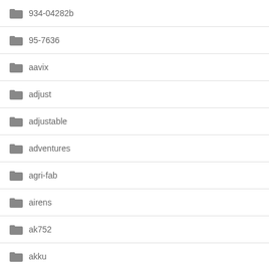934-04282b
95-7636
aavix
adjust
adjustable
adventures
agri-fab
airens
ak752
akku
alphaworks
amazing
amico